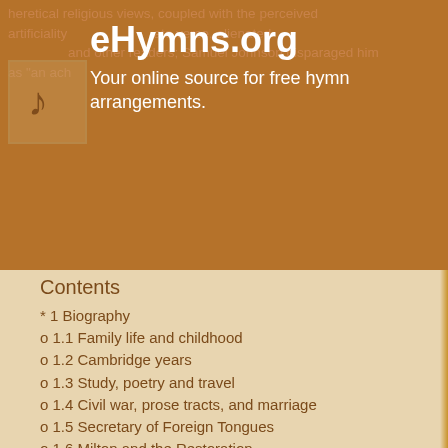heretical religious views, coupled with the perceived artificiality of his elaborate verse, alienated and other readers; Samuel Johnson disparaged him as "an ach...
eHymns.org
Your online source for free hymn arrangements.
Contents
* 1 Biography
o 1.1 Family life and childhood
o 1.2 Cambridge years
o 1.3 Study, poetry and travel
o 1.4 Civil war, prose tracts, and marriage
o 1.5 Secretary of Foreign Tongues
o 1.6 Milton and the Restoration
o 1.7 Paradise Lost
* 2 Philosophical, political, and religious views
o 2.1 Philosophy
o 2.2 Politics
o 2.3 Religion